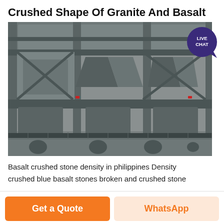Crushed Shape Of Granite And Basalt
[Figure (photo): Industrial stone crushing machinery facility showing large multi-story conveyor and hopper equipment, with a LIVE CHAT badge overlay in the upper right corner.]
Basalt crushed stone density in philippines Density crushed blue basalt stones broken and crushed stone
Get a Quote
WhatsApp